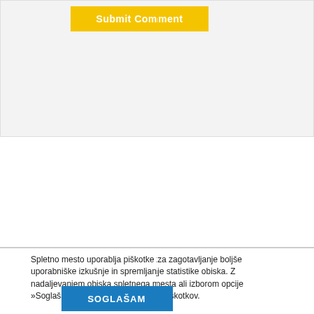[Figure (screenshot): Top section showing a yellow 'Submit Comment' button on a light gray background panel]
[Figure (screenshot): Search input field with placeholder text 'Išči ...' followed by a yellow 'Išči' button]
Spletno mesto uporablja piškotke za zagotavljanje boljše uporabniške izkušnje in spremljanje statistike obiska. Z nadaljevanjem obiska spletnega mesta ali izborom opcije »Soglašam« se strinjate z uporabo piškotkov.
[Figure (screenshot): Blue 'SOGLAŠAM' button]